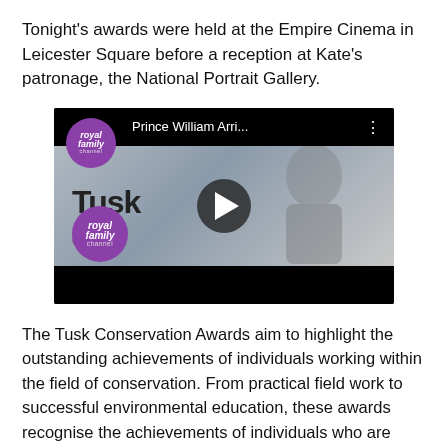Tonight's awards were held at the Empire Cinema in Leicester Square before a reception at Kate's patronage, the National Portrait Gallery.
[Figure (screenshot): Embedded YouTube-style video thumbnail showing Prince William at a Tusk Conservation Awards event. The video is from the Royal Family Channel and shows 'Prince William Arri...' as the title. A play button is overlaid in the center.]
The Tusk Conservation Awards aim to highlight the outstanding achievements of individuals working within the field of conservation. From practical field work to successful environmental education, these awards recognise the achievements of individuals who are ensuring the future of Africa and bringing the challenges faced by the continent to